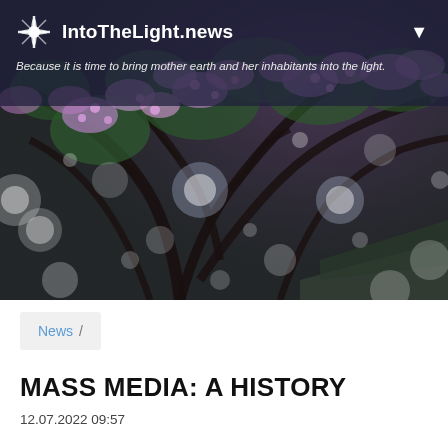IntoTheLight.news
Because it is time to bring mother earth and her inhabitants into the light.
[Figure (photo): Cherry blossom tree with pink and purple flowers, with bokeh light effects resembling snow or petals falling, dark branches against green foliage.]
News /
MASS MEDIA: A HISTORY
12.07.2022 09:57